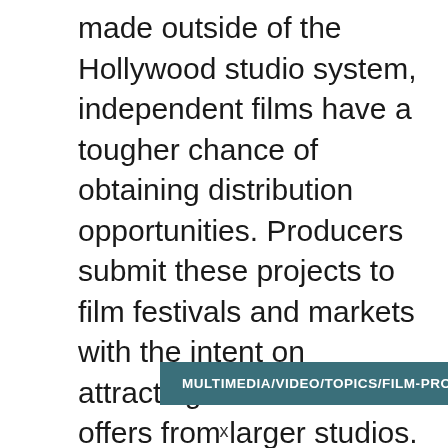made outside of the Hollywood studio system, independent films have a tougher chance of obtaining distribution opportunities. Producers submit these projects to film festivals and markets with the intent on attracting distribution offers from larger studios. While thousands of independent films are submitted to festivals each year, only a few get accepted to be shown and an even smaller percentage is granted theatrical distribution.
MULTIMEDIA/VIDEO/TOPICS/FILM-PRODUCTION
x